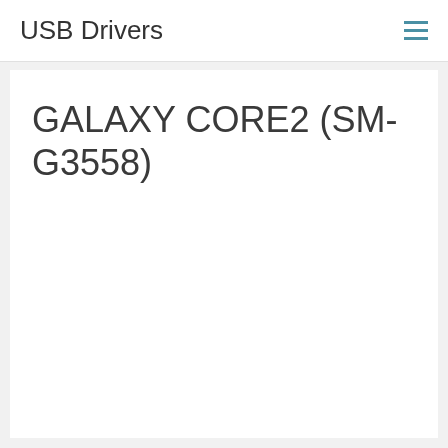USB Drivers
GALAXY CORE2 (SM-G3558)